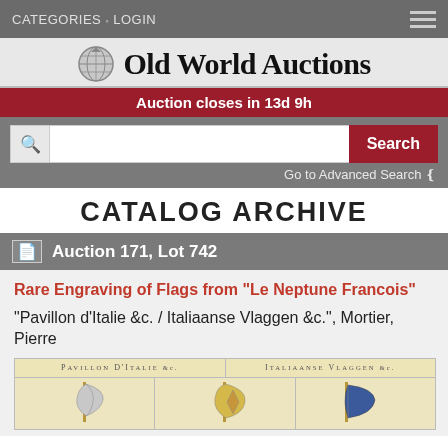CATEGORIES · LOGIN
Old World Auctions
Auction closes in 13d 9h
CATALOG ARCHIVE
Auction 171, Lot 742
Rare Engraving of Flags from "Le Neptune Francois"
"Pavillon d'Italie &c. / Italiaanse Vlaggen &c.", Mortier, Pierre
[Figure (photo): Engraving showing flags titled 'PAVILLON D'ITALIE &c.' and 'ITALIAANSE VLAGGEN &c.' with decorative flags illustrated]